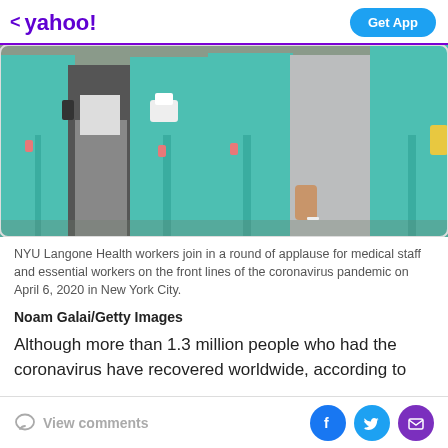< yahoo!  Get App
[Figure (photo): Group of healthcare workers in teal/green scrubs standing together outdoors, photo cropped at waist level showing 5 people, one in casual clothes in the center.]
NYU Langone Health workers join in a round of applause for medical staff and essential workers on the front lines of the coronavirus pandemic on April 6, 2020 in New York City.
Noam Galai/Getty Images
Although more than 1.3 million people who had the coronavirus have recovered worldwide, according to
View comments